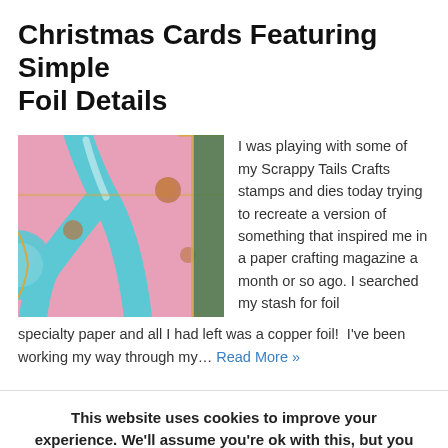Christmas Cards Featuring Simple Foil Details
[Figure (photo): Close-up photo of a Christmas card with teal/blue foil details on a pink background with copper foil accents and gold trim]
I was playing with some of my Scrappy Tails Crafts stamps and dies today trying to recreate a version of something that inspired me in a paper crafting magazine a month or so ago. I searched my stash for foil specialty paper and all I had left was a copper foil!  I've been working my way through my… Read More »
This website uses cookies to improve your experience. We'll assume you're ok with this, but you can opt-out if you wish.
Accept  Read More